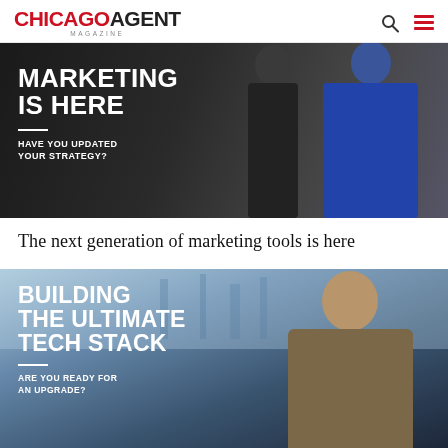CHICAGO AGENT MAGAZINE
[Figure (photo): Magazine cover style banner image with two women posed in a dark interior setting. White bold text overlaid reads: MARKETING IS HERE / HAVE YOU UPDATED YOUR STRATEGY?]
The next generation of marketing tools is here
[Figure (photo): Magazine cover style banner image with a woman with glasses posed in a modern interior with large windows overlooking a city waterfront. White bold text overlaid reads: BUILDING THE ULTIMATE TECH STACK / ARE YOU READY FOR AN UPGRADE?]